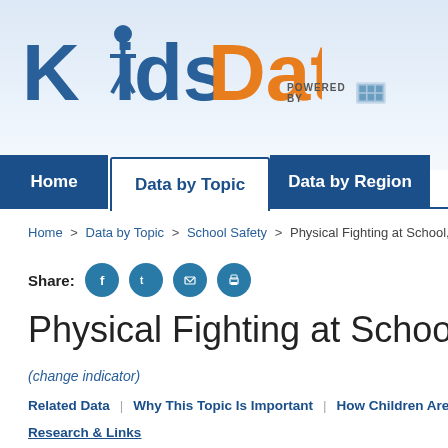[Figure (logo): KidsData logo with person icon between 'Kids' (blue) and 'Data' (orange), with 'POWERED BY' text and logo to the right]
Home | Data by Topic | Data by Region
Home > Data by Topic > School Safety > Physical Fighting at School, by Se
Share:
Physical Fighting at School, by Se
(change indicator)
Related Data | Why This Topic Is Important | How Children Are Fa
Research & Links